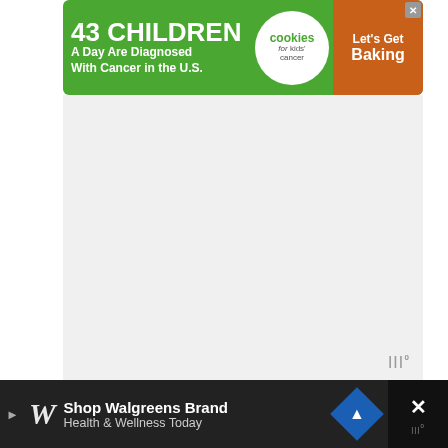[Figure (screenshot): Top advertisement banner: green background with text '43 CHILDREN A Day Are Diagnosed With Cancer in the U.S.' with cookies for kids cancer logo and a cookie image with 'Let's Get Baking']
[Figure (screenshot): Gray advertisement placeholder area with a watermark icon in bottom right]
Below is a Snapshot from Babysense’s website:
About Us
The company was founded in 1991 and thereafter developed the world’s first non-touch breathing movement monitor for detection of respiratory cessation (apnea) in infants, known under the trademark – Babysense.
Since then, the company has gained solid expertise in developing and producing quality health monitoring solutions, meeting the stringent requirements and needs of global markets.
Over the years, our company has gained extensive knowledge and expertise in developing and producing quality health monitoring solutions, meeting the stringent regulatory requirements and needs of the global markets.
Babysense Brands (V24US vs. V35US Models)
Hisense released three brands of Babysense video baby monitors, one with one digital camera, another with two digital cameras and another with a 3.5 inch LCD screen. The
[Figure (screenshot): Bottom advertisement: Shop Walgreens Brand Health & Wellness Today with Walgreens logo and a blue navigation/map icon]